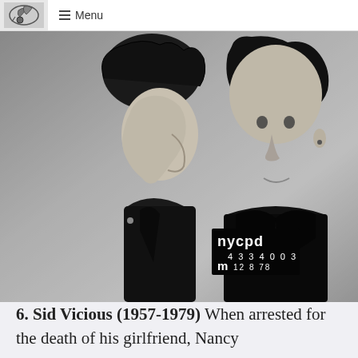Menu
[Figure (photo): Black and white police mugshot of Sid Vicious, showing two views: profile (left) and front-facing (right). He has spiked dark hair and wears a leather jacket. A NYPD booking sign is visible reading: nycpd 4334003 m 12 8 78]
6. Sid Vicious (1957-1979) When arrested for the death of his girlfriend, Nancy